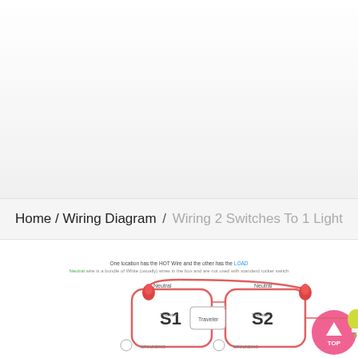Home / Wiring Diagram / Wiring 2 Switches To 1 Light
[Figure (schematic): Standard 3-Way Switch Neutral in Both Locations wiring diagram showing S1 and S2 switches with Traveler, Neutral labels, and red/white wiring connections. Caption: One location has the HOT Wire and the other has the LOAD. Neutral wire is a bundle of White (usually) wires in the box and are not used with standard rocker switch.]